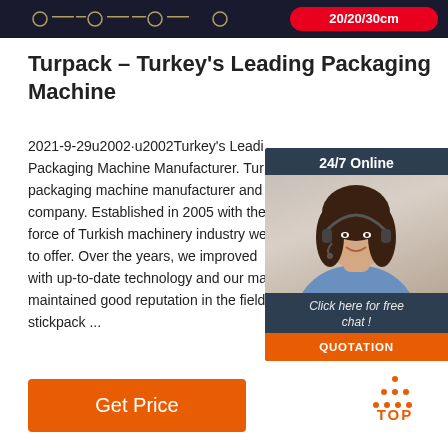[Figure (screenshot): Dark top banner with machine icons and a red pill button showing '20/20/30cm']
Turpack – Turkey's Leading Packaging Machine
2021-9-29u2002·u2002Turkey's Leading Packaging Machine Manufacturer. Turpack is a packaging machine manufacturer and company. Established in 2005 with the force of Turkish machinery industry we to offer. Over the years, we improved with up-to-date technology and our maintained good reputation in the field of stickpack ...
[Figure (infographic): 24/7 Online chat widget with a photo of a woman wearing a headset, 'Click here for free chat!' text, and an orange QUOTATION button]
[Figure (infographic): Orange dotted triangle 'TOP' scroll-to-top button icon]
Get Price